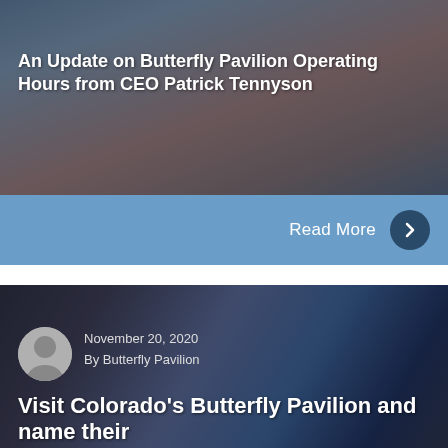[Figure (photo): Card with dark blue/brown toned photo of butterfly pavilion exhibit with decorative elements, overlaid with white text title about CEO update]
An Update on Butterfly Pavilion Operating Hours from CEO Patrick Tennyson
Read More
[Figure (photo): Card with dark blue-toned photo of Butterfly Pavilion interior with visitors and aquarium tank, with author avatar and metadata overlay]
November 20, 2020
By Butterfly Pavilion
Visit Colorado's Butterfly Pavilion and name their